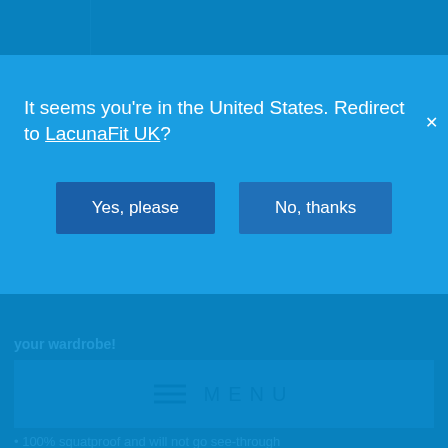[Figure (illustration): Recycling/sustainable icon in a dark box, with the italic label 'Sustainable' next to it]
All Lacuna products are delivered through yo
your wardrobe!
[Figure (screenshot): Dark blue menu bar with hamburger icon and MENU text]
100% squatproof and will not go see-through
It seems you're in the United States. Redirect to LacunaFit UK?
Yes, please
No, thanks